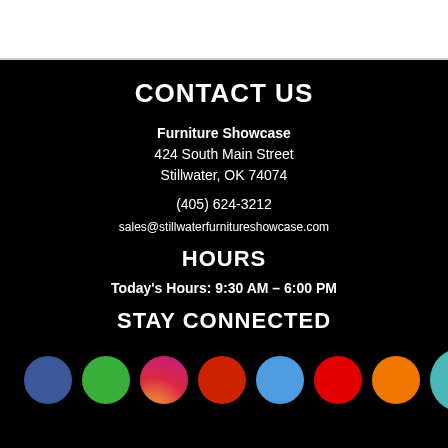CONTACT US
Furniture Showcase
424 South Main Street
Stillwater, OK 74074
(405) 624-3212
sales@stillwaterfurnitureshowcase.com
HOURS
Today's Hours: 9:30 AM – 6:00 PM
STAY CONNECTED
[Figure (illustration): Row of colorful social media icon circles: Facebook (blue), Google (green), Instagram (gradient), Reddit (dark red), LinkedIn (light blue), YouTube (red), Orange app icon, plus a teal chat bubble icon and a small outlined box]